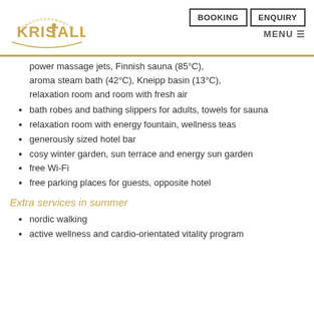[Figure (logo): Erwachsenenhotel Kristall logo with golden text and decorative arch]
power massage jets, Finnish sauna (85°C), aroma steam bath (42°C), Kneipp basin (13°C), relaxation room and room with fresh air
bath robes and bathing slippers for adults, towels for sauna
relaxation room with energy fountain, wellness teas
generously sized hotel bar
cosy winter garden, sun terrace and energy sun garden
free Wi-Fi
free parking places for guests, opposite hotel
Extra services in summer
nordic walking
active wellness and cardio-orientated vitality program